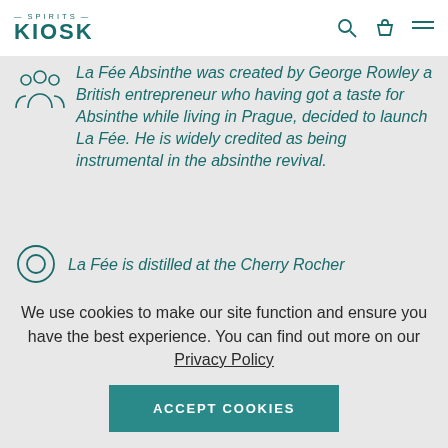SPIRITS KIOSK
La Fée Absinthe was created by George Rowley a British entrepreneur who having got a taste for Absinthe while living in Prague, decided to launch La Fée. He is widely credited as being instrumental in the absinthe revival.
La Fée is distilled at the Cherry Rocher
We use cookies to make our site function and ensure you have the best experience. You can find out more on our Privacy Policy
ACCEPT COOKIES